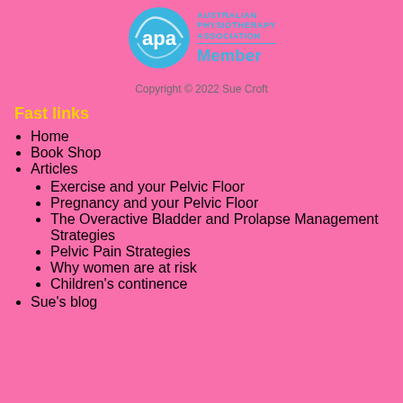[Figure (logo): Australian Physiotherapy Association (APA) logo with circular blue emblem and text reading AUSTRALIAN PHYSIOTHERAPY ASSOCIATION Member]
Copyright © 2022 Sue Croft
Fast links
Home
Book Shop
Articles
Exercise and your Pelvic Floor
Pregnancy and your Pelvic Floor
The Overactive Bladder and Prolapse Management Strategies
Pelvic Pain Strategies
Why women are at risk
Children's continence
Sue's blog